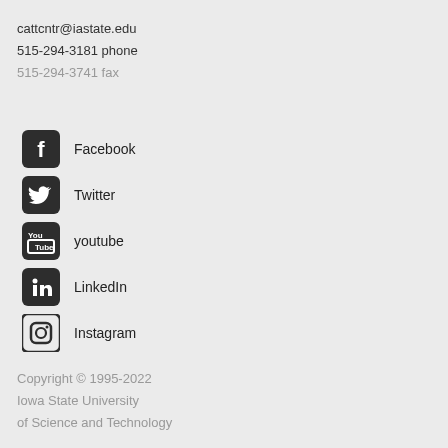cattcntr@iastate.edu
515-294-3181 phone
515-294-3741 fax
Facebook
Twitter
youtube
LinkedIn
Instagram
Copyright © 1995-2022
Iowa State University
of Science and Technology